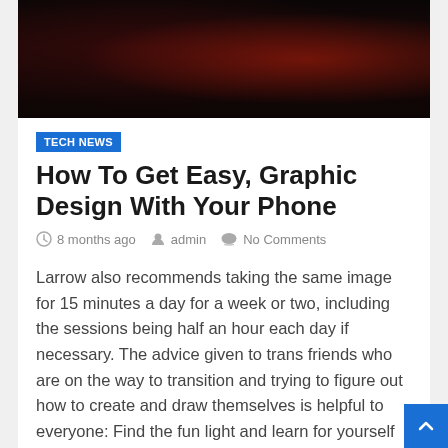[Figure (photo): Dark moody hero image with reddish tones, appears to show a dark textured subject with dramatic lighting]
TECH NEWS
How To Get Easy, Graphic Design With Your Phone
8 months ago   admin   No Comments
Larrow also recommends taking the same image for 15 minutes a day for a week or two, including the sessions being half an hour each day if necessary. The advice given to trans friends who are on the way to transition and trying to figure out how to create and draw themselves is helpful to everyone: Find the fun light and learn for yourself in it. Try things out and ask yourself what your picture shows.